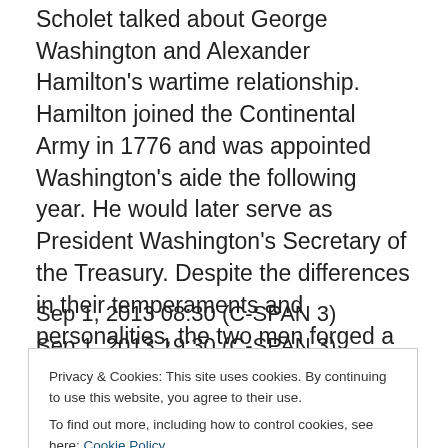Scholet talked about George Washington and Alexander Hamilton's wartime relationship. Hamilton joined the Continental Army in 1776 and was appointed Washington's aide the following year. He would later serve as President Washington's Secretary of the Treasury. Despite the differences in their temperaments and personalities, the two men forged a long military and political partnership.
Sep 1, 2013 08:30 (C-SPAN 3)
Sep 1, 2013 19:30 (C-SPAN 3)
Privacy & Cookies: This site uses cookies. By continuing to use this website, you agree to their use.
To find out more, including how to control cookies, see here: Cookie Policy
Close and accept
at: